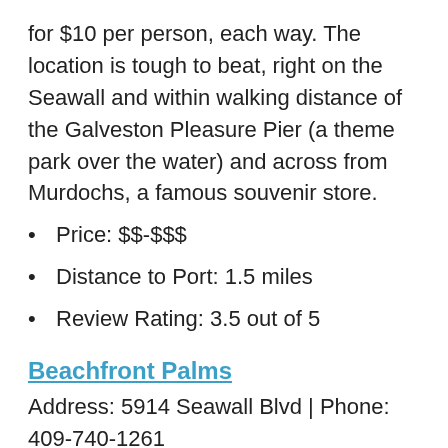for $10 per person, each way. The location is tough to beat, right on the Seawall and within walking distance of the Galveston Pleasure Pier (a theme park over the water) and across from Murdochs, a famous souvenir store.
Price: $$-$$$
Distance to Port: 1.5 miles
Review Rating: 3.5 out of 5
Beachfront Palms
Address: 5914 Seawall Blvd | Phone: 409-740-1261 | Paid Shuttle
Beachfront Palms sits right across the Seawall from the beach, and just down from the convention